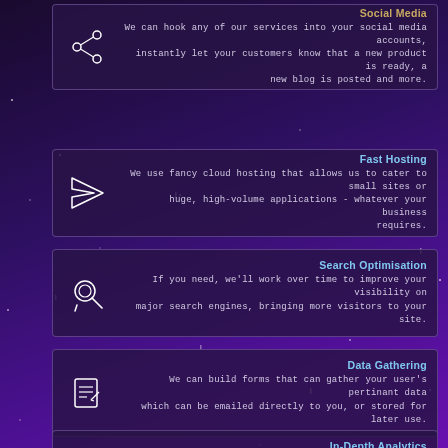[Figure (infographic): Dark purple starfield background with five feature cards, each containing an icon and descriptive text about web services]
Social Media
We can hook any of our services into your social media accounts, instantly let your customers know that a new product is ready, a new blog is posted and more.
Fast Hosting
We use fancy cloud hosting that allows us to cater to small sites or huge, high-volume applications - whatever your business requires.
Search Optimisation
If you need, we'll work over time to improve your visibility on major search engines, bringing more visitors to your site.
Data Gathering
We can build forms that can gather your user's pertinant data which can be emailed directly to you, or stored for later use.
In-Depth Analytics
We can give you tools to track how your visitors use your website and tweak your content to maximise your website's impact.